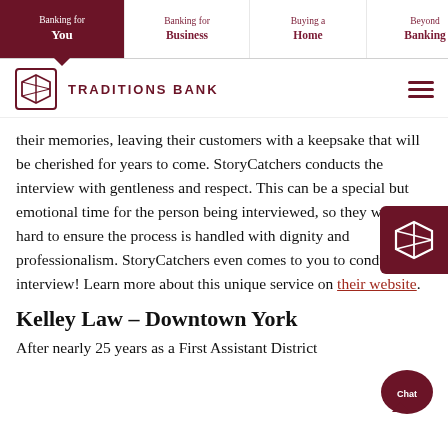Banking for You | Banking for Business | Buying a Home | Beyond Banking
[Figure (logo): Traditions Bank logo with box icon and text TRADITIONS BANK]
their memories, leaving their customers with a keepsake that will be cherished for years to come. StoryCatchers conducts the interview with gentleness and respect. This can be a special but emotional time for the person being interviewed, so they work hard to ensure the process is handled with dignity and professionalism. StoryCatchers even comes to you to conduct the interview! Learn more about this unique service on their website.
Kelley Law – Downtown York
After nearly 25 years as a First Assistant District